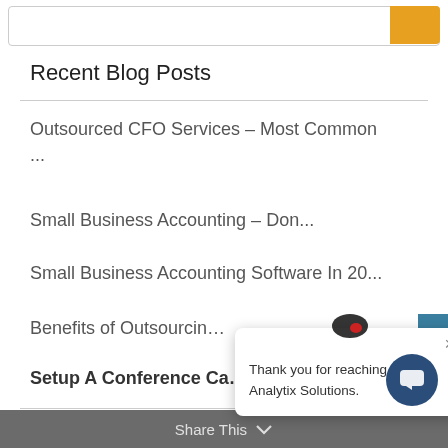Recent Blog Posts
Outsourced CFO Services – Most Common ...
Small Business Accounting – Don…...
Small Business Accounting Software In 20...
Benefits of Outsourcin…
Setup A Conference Ca…
[Figure (screenshot): Chat popup with Analytix Solutions logo and message: Thank you for reaching out to Analytix Solutions. Close button (×) visible.]
Name
Share This